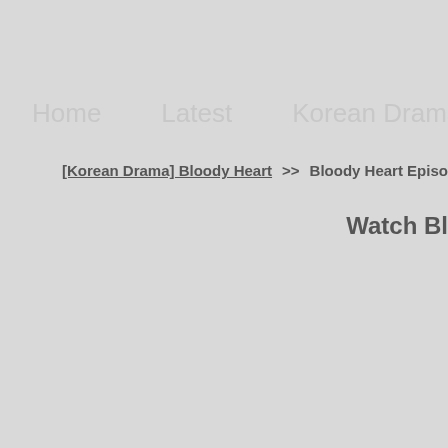Home   Latest   Korean Drama   Japanese Dra
[Korean Drama] Bloody Heart  >>  Bloody Heart Episode 8 Online Videos
Watch Bl